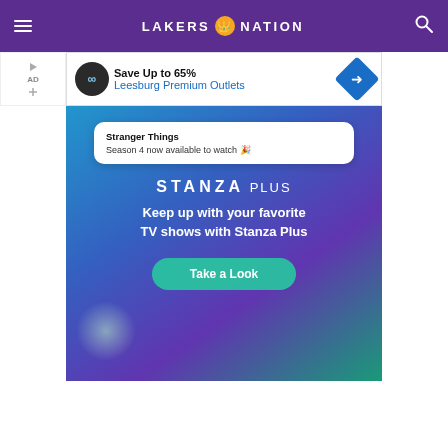LAKERS NATION
[Figure (screenshot): Advertisement banner: Save Up to 65% Leesburg Premium Outlets]
[Figure (screenshot): Stanza Plus app advertisement showing Stranger Things Season 4 notification card, STANZA PLUS branding, tagline 'Keep up with your favorite TV shows with Stanza Plus', and a 'Take a Look' button]